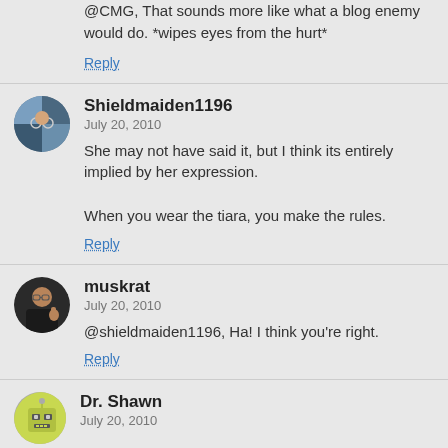@CMG, That sounds more like what a blog enemy would do. *wipes eyes from the hurt*
Reply
Shieldmaiden1196
July 20, 2010
She may not have said it, but I think its entirely implied by her expression.

When you wear the tiara, you make the rules.
Reply
muskrat
July 20, 2010
@shieldmaiden1196, Ha! I think you're right.
Reply
Dr. Shawn
July 20, 2010